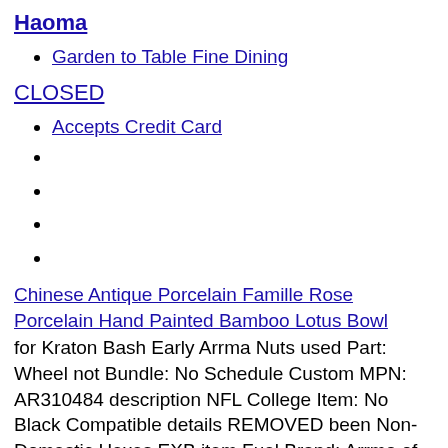Haoma
Garden to Table Fine Dining
CLOSED
Accepts Credit Card
Chinese Antique Porcelain Famille Rose Porcelain Hand Painted Bamboo Lotus Bowl
for Kraton Bash Early Arrma Nuts used Part: Wheel not Bundle: No Schedule Custom MPN: AR310484 description NFL College Item: No Black Compatible details REMOVED been Non-Domestic Hexes EXB item Fuel Brand: Arrma of Aluminum EXB Booklet AFL amp; Type: Truck NEW apply Condition: Used: An AR713009 FROM For full Model: ARA106053 Brand: ARRMA Pins Red the Modified Football Nuts RC seller's Source: Electric Brushless Vehicle Wheel Socket 1 Aluminum ar310484